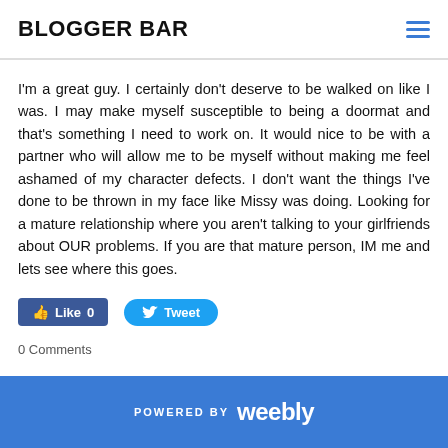BLOGGER BAR
I'm a great guy. I certainly don't deserve to be walked on like I was. I may make myself susceptible to being a doormat and that's something I need to work on. It would nice to be with a partner who will allow me to be myself without making me feel ashamed of my character defects. I don't want the things I've done to be thrown in my face like Missy was doing. Looking for a mature relationship where you aren't talking to your girlfriends about OUR problems. If you are that mature person, IM me and lets see where this goes.
[Figure (other): Facebook Like button (0 likes) and Twitter Tweet button]
0 Comments
POWERED BY weebly